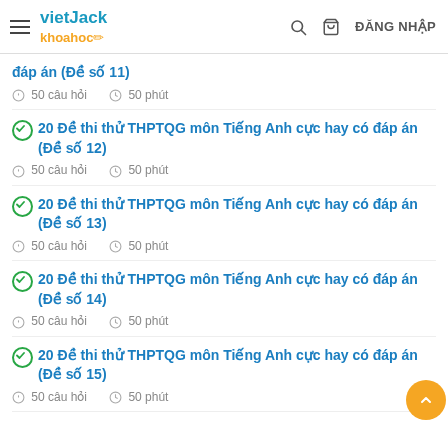vietJack khoahoc - ĐĂNG NHẬP
đáp án (Đề số 11) — 50 câu hỏi — 50 phút
20 Đề thi thử THPTQG môn Tiếng Anh cực hay có đáp án (Đề số 12) — 50 câu hỏi — 50 phút
20 Đề thi thử THPTQG môn Tiếng Anh cực hay có đáp án (Đề số 13) — 50 câu hỏi — 50 phút
20 Đề thi thử THPTQG môn Tiếng Anh cực hay có đáp án (Đề số 14) — 50 câu hỏi — 50 phút
20 Đề thi thử THPTQG môn Tiếng Anh cực hay có đáp án (Đề số 15) — 50 câu hỏi — 50 phút